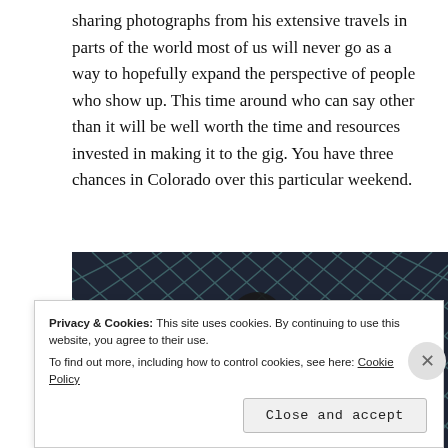sharing photographs from his extensive travels in parts of the world most of us will never go as a way to hopefully expand the perspective of people who show up. This time around who can say other than it will be well worth the time and resources invested in making it to the gig. You have three chances in Colorado over this particular weekend.
[Figure (photo): A dark photograph showing a person wearing rhinestone-studded accessories against a diamond-pattern wire mesh background.]
Privacy & Cookies: This site uses cookies. By continuing to use this website, you agree to their use. To find out more, including how to control cookies, see here: Cookie Policy